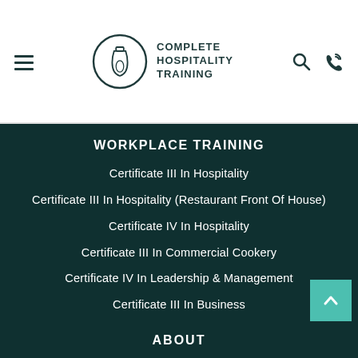[Figure (logo): Complete Hospitality Training logo with circular wine bottle/glass icon and text]
WORKPLACE TRAINING
Certificate III In Hospitality
Certificate III In Hospitality (Restaurant Front Of House)
Certificate IV In Hospitality
Certificate III In Commercial Cookery
Certificate IV In Leadership & Management
Certificate III In Business
ABOUT